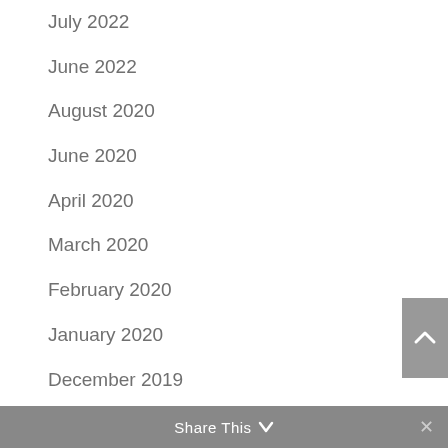July 2022
June 2022
August 2020
June 2020
April 2020
March 2020
February 2020
January 2020
December 2019
November 2019
October 2019
August 2019
July 2019
Share This ∨  ×